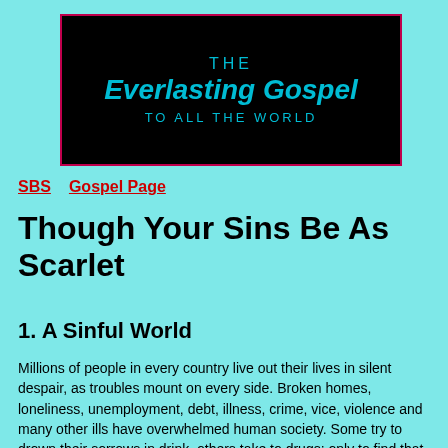[Figure (logo): Black banner header reading 'THE Everlasting Gospel TO ALL THE WORLD' in cyan text on black background with dark red border]
SBS   Gospel Page
Though Your Sins Be As Scarlet
1. A Sinful World
Millions of people in every country live out their lives in silent despair, as troubles mount on every side. Broken homes, loneliness, unemployment, debt, illness, crime, vice, violence and many other ills have overwhelmed human society. Some try to drown their sorrows in drink, others take to drugs; only to find that they are compounding their problems. All the while, personal guilt is escalating throughout society. Families are growing apart,